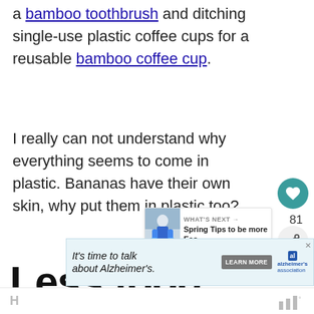a bamboo toothbrush and ditching single-use plastic coffee cups for a reusable bamboo coffee cup.
I really can not understand why everything seems to come in plastic. Bananas have their own skin, why put them in plastic too?
[Figure (infographic): Like button (teal heart icon) with count 81, and share button below it]
[Figure (infographic): What's Next panel with image thumbnail and text: Spring Tips to be more Eco...]
Less food waste
[Figure (infographic): Advertisement banner: It's time to talk about Alzheimer's. LEARN MORE. Alzheimer's Association logo with close button.]
H...